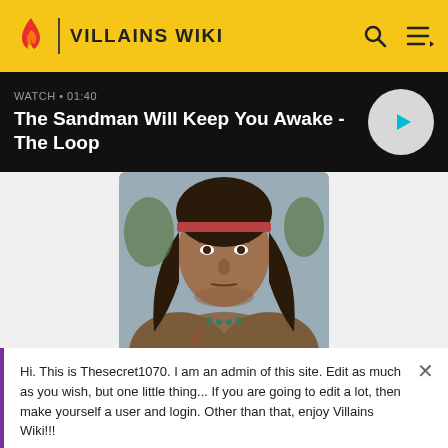VILLAINS WIKI
The Sandman Will Keep You Awake - The Loop
[Figure (photo): Portrait of a Native American man with long dark hair, wearing a headband and traditional clothing, looking forward with a serious expression.]
Hi. This is Thesecret1070. I am an admin of this site. Edit as much as you wish, but one little thing... If you are going to edit a lot, then make yourself a user and login. Other than that, enjoy Villains Wiki!!!